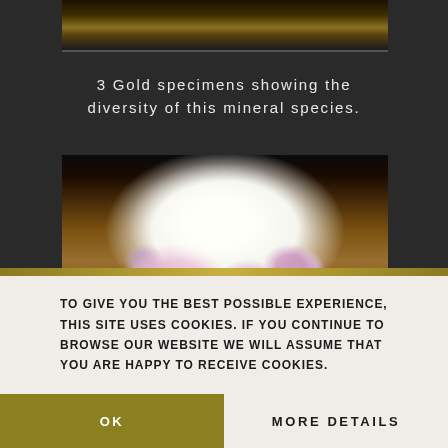[Figure (photo): Partial view of mineral specimens (gold) on dark background, cropped at top]
3 Gold specimens showing the diversity of this mineral species.
[Figure (photo): A mineral specimen with white and pink-purple crystal formations on a brown rocky matrix, photographed on a dark background]
TO GIVE YOU THE BEST POSSIBLE EXPERIENCE, THIS SITE USES COOKIES. IF YOU CONTINUE TO BROWSE OUR WEBSITE WE WILL ASSUME THAT YOU ARE HAPPY TO RECEIVE COOKIES.
OK
MORE DETAILS